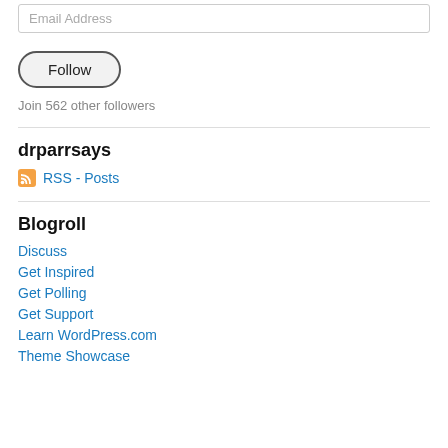Email Address
Follow
Join 562 other followers
drparrsays
RSS - Posts
Blogroll
Discuss
Get Inspired
Get Polling
Get Support
Learn WordPress.com
Theme Showcase